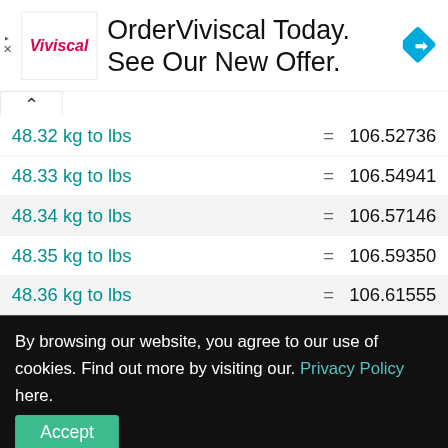[Figure (screenshot): Ad banner for Viviscal with logo and text 'OrderViviscal Today. See Our New Offer.' with blue diamond arrow icon]
| Conversion | = | Value |
| --- | --- | --- |
| 48.32 kg to lbs | = | 106.52736 |
| 48.33 kg to lbs | = | 106.54941 |
| 48.34 kg to lbs | = | 106.57146 |
| 48.35 kg to lbs | = | 106.59350 |
| 48.36 kg to lbs | = | 106.61555 |
| 48.4 kg to lbs | = | 106.70373 |
By browsing our website, you agree to our use of cookies. Find out more by visiting our. Privacy Policy here.
Accept